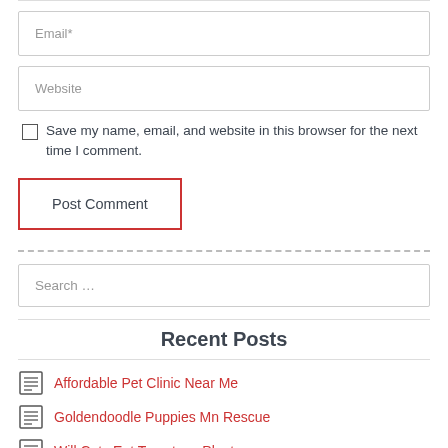Email*
Website
Save my name, email, and website in this browser for the next time I comment.
Post Comment
Search …
Recent Posts
Affordable Pet Clinic Near Me
Goldendoodle Puppies Mn Rescue
Will Cats Eat Tomatoes Plants